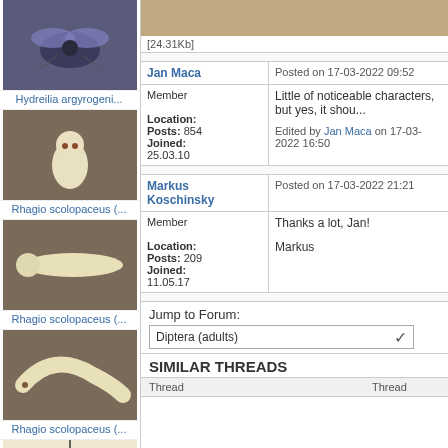[Figure (photo): Blue metallic fly on flower (Hydreilia argyrogeni)]
Hydreilia argyrogeni...
[Figure (photo): Pale larva of Rhagio scolopaceus]
Rhagio scolopaceus (...
[Figure (photo): Pale larva of Rhagio scolopaceus, elongated]
Rhagio scolopaceus (...
[Figure (photo): Pale larva of Rhagio scolopaceus, curved]
Rhagio scolopaceus (...
[Figure (photo): Wasp or fly specimen pinned for display]
[Figure (photo): Tan/brown surface image [24.31Kb]]
[24.31Kb]
Jan Maca
Posted on 17-03-2022 09:52
Member
Little of noticeable characters, but yes, it shou...
Location:
Posts: 854
Joined:
25.03.10
Edited by Jan Maca on 17-03-2022 16:50
Markus Koschinsky
Posted on 17-03-2022 21:21
Member
Thanks a lot, Jan!
Location:
Posts: 209
Joined:
11.05.17
Markus
Jump to Forum:
Diptera (adults)
SIMILAR THREADS
| Thread | Thread |
| --- | --- |